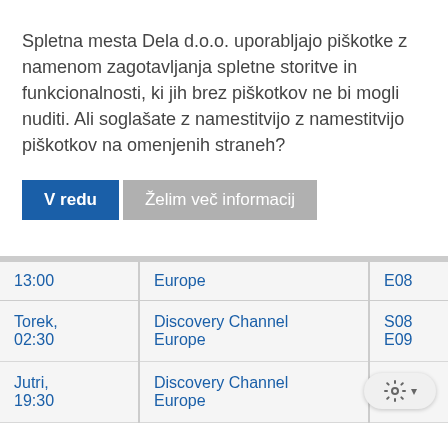Spletna mesta Dela d.o.o. uporabljajo piškotke z namenom zagotavljanja spletne storitve in funkcionalnosti, ki jih brez piškotkov ne bi mogli nuditi. Ali soglašate z namestitvijo z namestitvijo piškotkov na omenjenih straneh?
V redu | Želim več informacij
| Time | Channel | Episode |
| --- | --- | --- |
| 13:00 | Europe | E08 |
| Torek, 02:30 | Discovery Channel Europe | S08 E09 |
| Jutri, 19:30 | Discovery Channel Europe | S0... E0... |